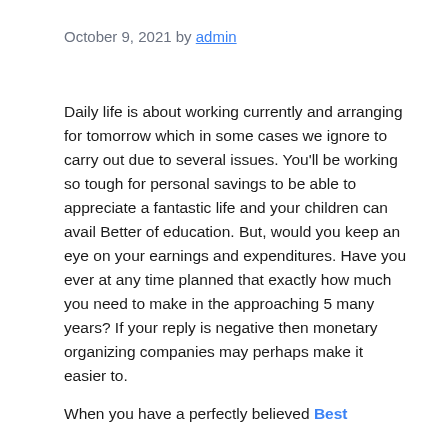October 9, 2021 by admin
Daily life is about working currently and arranging for tomorrow which in some cases we ignore to carry out due to several issues. You'll be working so tough for personal savings to be able to appreciate a fantastic life and your children can avail Better of education. But, would you keep an eye on your earnings and expenditures. Have you ever at any time planned that exactly how much you need to make in the approaching 5 many years? If your reply is negative then monetary organizing companies may perhaps make it easier to.
When you have a perfectly believed Best